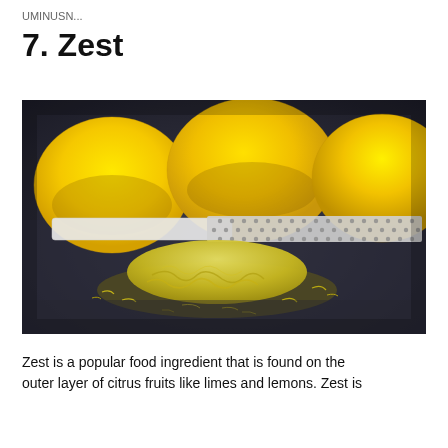UMINUSN...
7. Zest
[Figure (photo): Photo of lemons and a grater with a pile of fresh lemon zest on a dark surface]
Zest is a popular food ingredient that is found on the outer layer of citrus fruits like limes and lemons. Zest is...